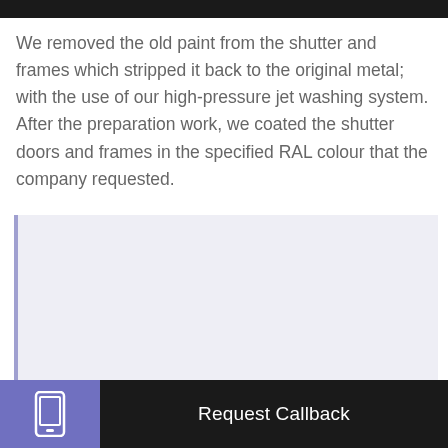We removed the old paint from the shutter and frames which stripped it back to the original metal; with the use of our high-pressure jet washing system. After the preparation work, we coated the shutter doors and frames in the specified RAL colour that the company requested.
[Figure (photo): Placeholder image area with light blue-grey background, likely showing a photo of the shutter/painting work]
Request Callback